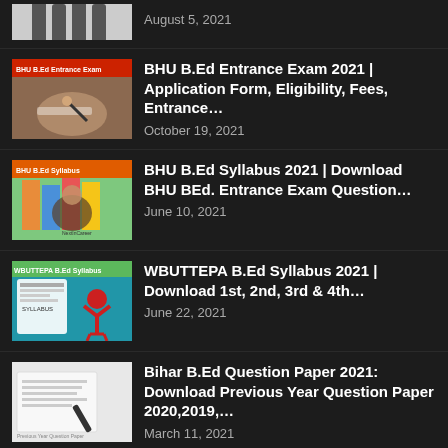BHU B.Ed Entrance Exam 2021 | Application Form, Eligibility, Fees, Entrance... — October 19, 2021
BHU B.Ed Syllabus 2021 | Download BHU BEd. Entrance Exam Question... — June 10, 2021
WBUTTEPA B.Ed Syllabus 2021 | Download 1st, 2nd, 3rd & 4th... — June 22, 2021
Bihar B.Ed Question Paper 2021: Download Previous Year Question Paper 2020,2019,... — March 11, 2021
Jharkhand B.Ed Entrance Exam 2021 |